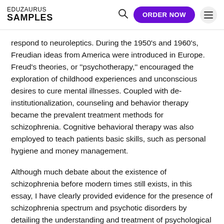EDUZAURUS SAMPLES
respond to neuroleptics. During the 1950's and 1960's, Freudian ideas from America were introduced in Europe. Freud's theories, or "psychotherapy," encouraged the exploration of childhood experiences and unconscious desires to cure mental illnesses. Coupled with de-institutionalization, counseling and behavior therapy became the prevalent treatment methods for schizophrenia. Cognitive behavioral therapy was also employed to teach patients basic skills, such as personal hygiene and money management.
Although much debate about the existence of schizophrenia before modern times still exists, in this essay, I have clearly provided evidence for the presence of schizophrenia spectrum and psychotic disorders by detailing the understanding and treatment of psychological diseases in